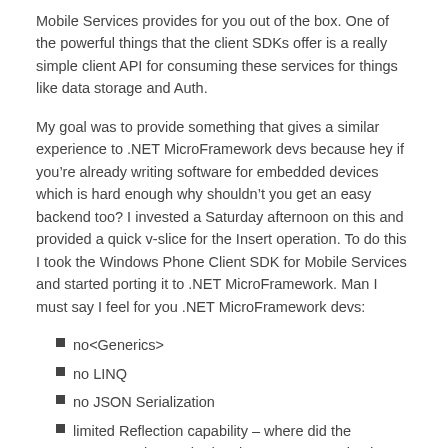Mobile Services provides for you out of the box.  One of the powerful things that the client SDKs offer is a really simple client API for consuming these services for things like data storage and Auth.
My goal was to provide something that gives a similar experience to .NET MicroFramework devs because hey if you’re already writing software for embedded devices which is hard enough why shouldn’t you get an easy backend too? I invested a Saturday afternoon on this and provided a quick v-slice for the Insert operation.  To do this I took the Windows Phone Client SDK for Mobile Services and started porting it to .NET MicroFramework. Man I must say I feel for you .NET MicroFramework devs:
no<Generics>
no LINQ
no JSON Serialization
limited Reflection capability – where did the GetProperties method go in .NET MF, I noticed PropertyInfo was there but couldn’t actually find